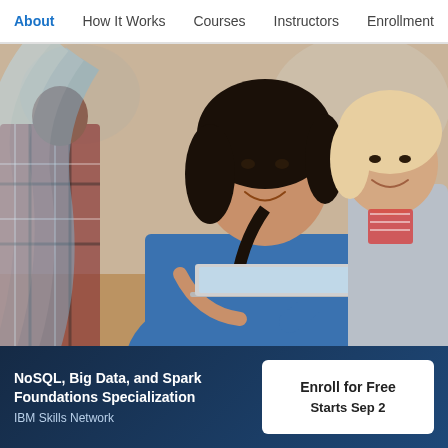About   How It Works   Courses   Instructors   Enrollment
[Figure (photo): Three people collaborating around a laptop — a woman in a blue denim shirt smiling at the screen, a man in a plaid shirt standing behind, and a woman with blonde hair in a grey cardigan smiling alongside. Decorative blue concentric arc stripes on the left side.]
NoSQL, Big Data, and Spark Foundations Specialization
IBM Skills Network
Enroll for Free
Starts Sep 2